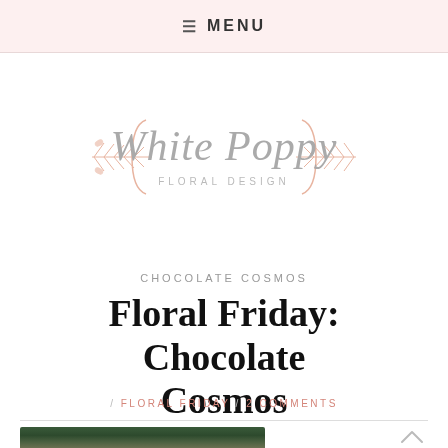≡ MENU
[Figure (logo): White Poppy Floral Design logo with decorative script text and botanical branch ornaments in blush/rose gold color]
CHOCOLATE COSMOS
Floral Friday: Chocolate Cosmos
/ FLORAL FRIDAY / 2 COMMENTS
[Figure (photo): Partial view of a dark red chocolate cosmos flower with blurred green background]